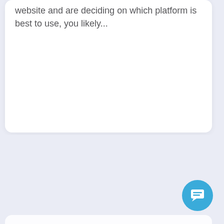website and are deciding on which platform is best to use, you likely...
[Figure (illustration): A circular blue chat/messaging button with a speech bubble icon containing horizontal lines, positioned in the bottom-right corner of the page.]